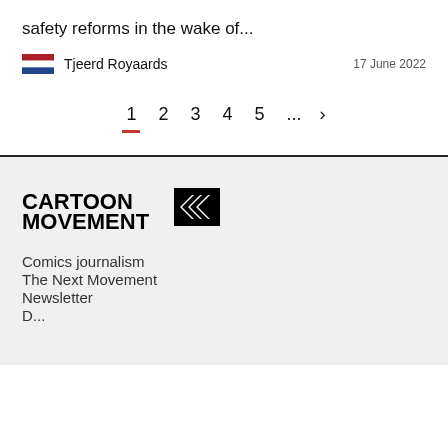safety reforms in the wake of...
Tjeerd Royaards  17 June 2022
1  2  3  4  5  ...  >
[Figure (logo): Cartoon Movement logo with arrow icon]
Comics journalism
The Next Movement
Newsletter
Dum...